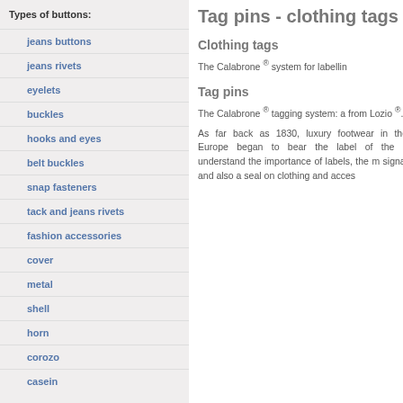Types of buttons:
jeans buttons
jeans rivets
eyelets
buckles
hooks and eyes
belt buckles
snap fasteners
tack and jeans rivets
fashion accessories
cover
metal
shell
horn
corozo
casein
Tag pins - clothing tags
Clothing tags
The Calabrone® system for labellin
Tag pins
The Calabrone® tagging system: a from Lozio®.
As far back as 1830, luxury footwear in the Europe began to bear the label of the s understand the importance of labels, the m signal and also a seal on clothing and acces